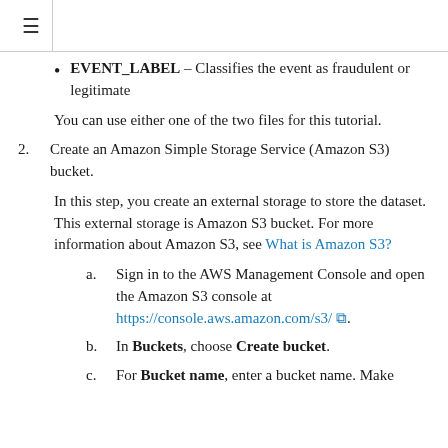≡
EVENT_LABEL – Classifies the event as fraudulent or legitimate
You can use either one of the two files for this tutorial.
2. Create an Amazon Simple Storage Service (Amazon S3) bucket.
In this step, you create an external storage to store the dataset. This external storage is Amazon S3 bucket. For more information about Amazon S3, see What is Amazon S3?
a. Sign in to the AWS Management Console and open the Amazon S3 console at https://console.aws.amazon.com/s3/.
b. In Buckets, choose Create bucket.
c. For Bucket name, enter a bucket name. Make